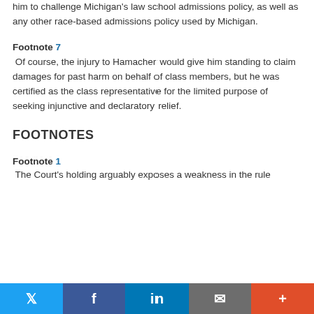him to challenge Michigan's law school admissions policy, as well as any other race-based admissions policy used by Michigan.
Footnote 7
 Of course, the injury to Hamacher would give him standing to claim damages for past harm on behalf of class members, but he was certified as the class representative for the limited purpose of seeking injunctive and declaratory relief.
FOOTNOTES
Footnote 1
 The Court's holding arguably exposes a weakness in the rule